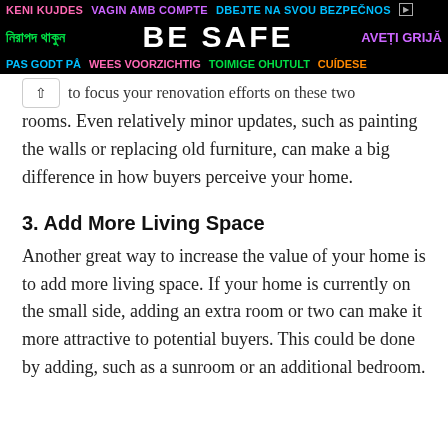[Figure (other): Multilingual safety advertisement banner with text in multiple languages on black background, including 'KENI KUJDES', 'VAGIN AMB COMPTE', 'DBEJTE NA SVOU BEZPEČNOS', Bengali text, 'BE SAFE', 'AVEȚI GRIJĂ', 'PAS GODT PÅ', 'WEES VOORZICHTIG', 'TOIMIGE OHUTULT', 'CUÍDESE']
to focus your renovation efforts on these two rooms. Even relatively minor updates, such as painting the walls or replacing old furniture, can make a big difference in how buyers perceive your home.
3. Add More Living Space
Another great way to increase the value of your home is to add more living space. If your home is currently on the small side, adding an extra room or two can make it more attractive to potential buyers. This could be done by adding, such as a sunroom or an additional bedroom.